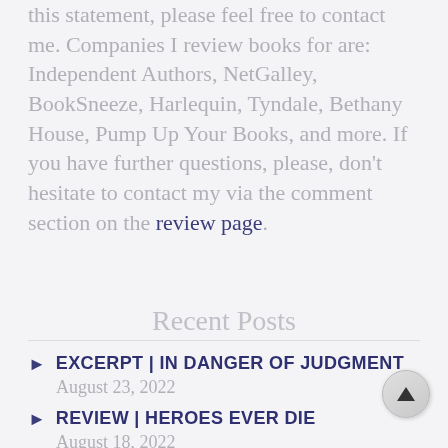this statement, please feel free to contact me. Companies I review books for are: Independent Authors, NetGalley, BookSneeze, Harlequin, Tyndale, Bethany House, Pump Up Your Books, and more. If you have further questions, please, don't hesitate to contact my via the comment section on the review page.
Recent Posts
EXCERPT | IN DANGER OF JUDGMENT
August 23, 2022
REVIEW | HEROES EVER DIE
August 18, 2022